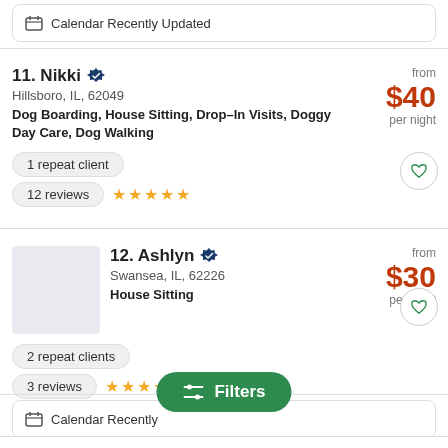Calendar Recently Updated
11. Nikki
Hillsboro, IL, 62049
Dog Boarding, House Sitting, Drop-In Visits, Doggy Day Care, Dog Walking
from $40 per night
1 repeat client
12 reviews ★★★★★
12. Ashlyn
Swansea, IL, 62226
House Sitting
from $30 per night
2 repeat clients
3 reviews ★★★★★
Calendar Recently Updated
Filters